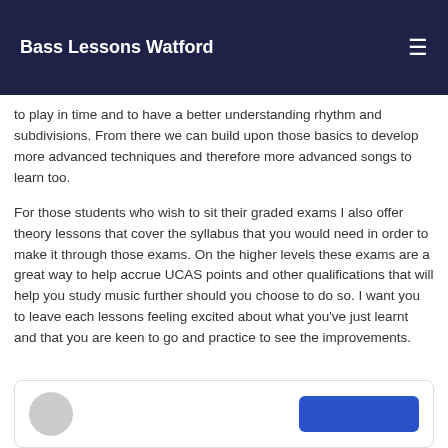Bass Lessons Watford
to play in time and to have a better understanding rhythm and subdivisions. From there we can build upon those basics to develop more advanced techniques and therefore more advanced songs to learn too.
For those students who wish to sit their graded exams I also offer theory lessons that cover the syllabus that you would need in order to make it through those exams. On the higher levels these exams are a great way to help accrue UCAS points and other qualifications that will help you study music further should you choose to do so. I want you to leave each lessons feeling excited about what you've just learnt and that you are keen to go and practice to see the improvements.